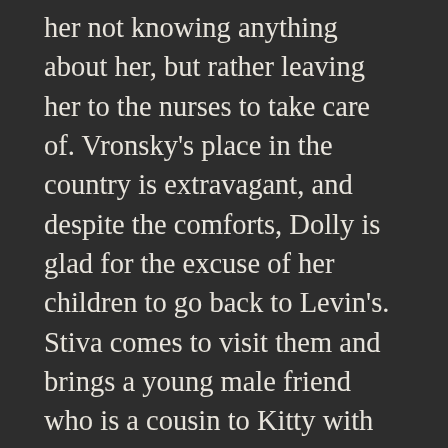her not knowing anything about her, but rather leaving her to the nurses to take care of. Vronsky's place in the country is extravagant, and despite the comforts, Dolly is glad for the excuse of her children to go back to Levin's. Stiva comes to visit them and brings a young male friend who is a cousin to Kitty with him. The young man flirts with Kitty, making Levin jealous to the point that he is unkind to his wife, and together they determine that in order to solve the problem, Levin needs to ask the man to leave. This insults Stiva, but nothing can be done about it.
When Kitty is close to her due date, Dolly and her mother insist that Kitty give birth in the